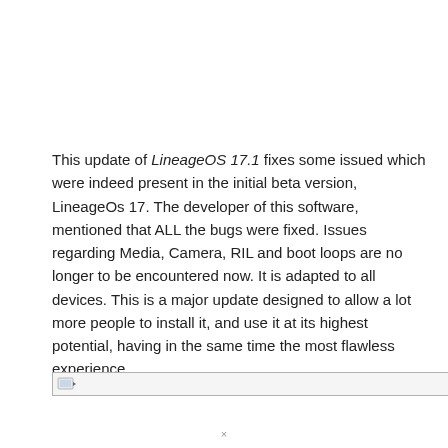This update of LineageOS 17.1 fixes some issued which were indeed present in the initial beta version, LineageOs 17. The developer of this software, mentioned that ALL the bugs were fixed. Issues regarding Media, Camera, RIL and boot loops are no longer to be encountered now. It is adapted to all devices. This is a major update designed to allow a lot more people to install it, and use it at its highest potential, having in the same time the most flawless experience.